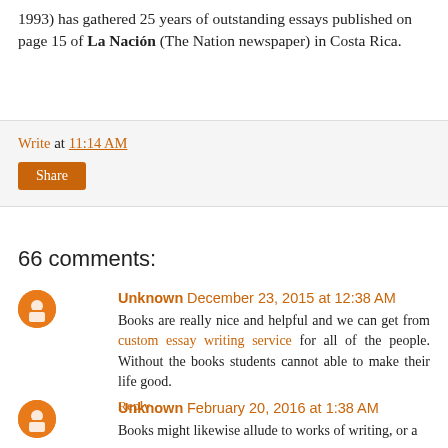1993) has gathered 25 years of outstanding essays published on page 15 of La Nación (The Nation newspaper) in Costa Rica.
Write at 11:14 AM
Share
66 comments:
Unknown December 23, 2015 at 12:38 AM
Books are really nice and helpful and we can get from custom essay writing service for all of the people. Without the books students cannot able to make their life good.
Reply
Unknown February 20, 2016 at 1:38 AM
Books might likewise allude to works of writing, or a